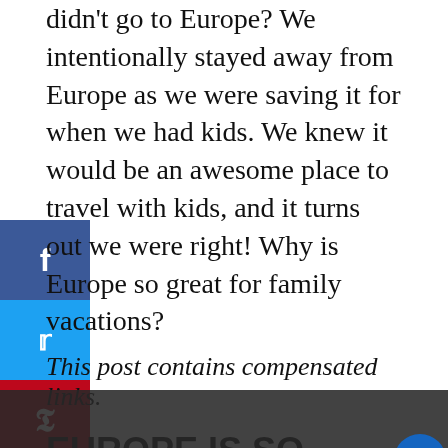didn't go to Europe? We intentionally stayed away from Europe as we were saving it for when we had kids. We knew it would be an awesome place to travel with kids, and it turns out we were right! Why is Europe so great for family vacations?
This post contains compensated links.
EUROPE IS SO EASY
Europe is so well traveled that there is a very effective infrastructure in place to make life easy on tourists. For example, there are many direct or easy 1-stop flights to the major